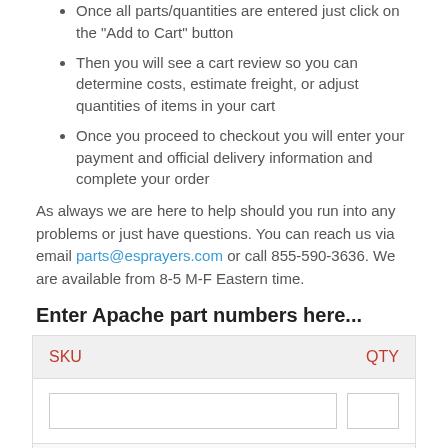Once all parts/quantities are entered just click on the "Add to Cart" button
Then you will see a cart review so you can determine costs, estimate freight, or adjust quantities of items in your cart
Once you proceed to checkout you will enter your payment and official delivery information and complete your order
As always we are here to help should you run into any problems or just have questions. You can reach us via email parts@esprayers.com or call 855-590-3636. We are available from 8-5 M-F Eastern time.
Enter Apache part numbers here...
| SKU | QTY |
| --- | --- |
|  |  |